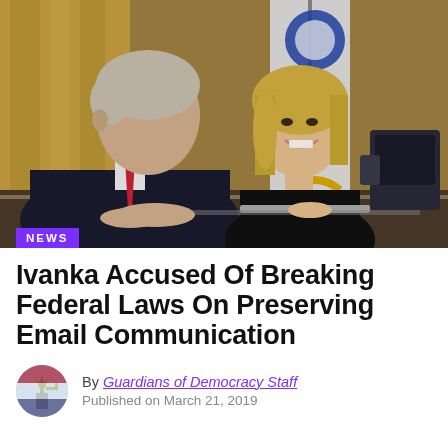[Figure (photo): Photo of two people (a man in a dark suit with red tie and a smiling woman with blonde hair in a black top) sitting at a desk in what appears to be a formal office setting with a flag and yellow curtains in the background.]
NEWS
Ivanka Accused Of Breaking Federal Laws On Preserving Email Communication
By Guardians of Democracy Staff
Published on March 21, 2019